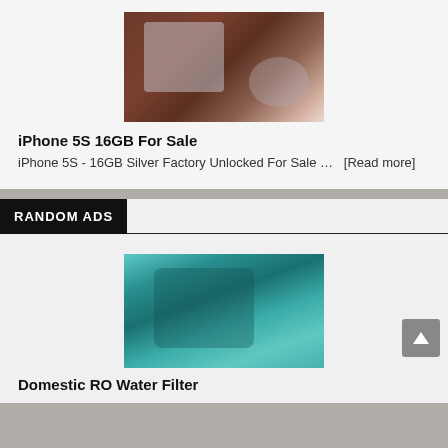[Figure (photo): Blurry product photo of iPhone 5S 16GB, reddish-brown background with phone and accessories visible]
iPhone 5S 16GB For Sale
iPhone 5S - 16GB Silver Factory Unlocked For Sale ...   [Read more]
RANDOM ADS
[Figure (photo): Blurry product photo of a Domestic RO Water Filter, teal/green color]
Domestic RO Water Filter